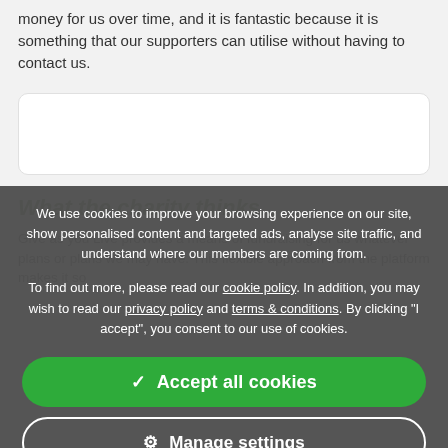money for us over time, and it is fantastic because it is something that our supporters can utilise without having to contact us.
[Figure (screenshot): White rounded box placeholder area (image/content placeholder)]
We use cookies to improve your browsing experience on our site, show personalised content and targeted ads, analyse site traffic, and understand where our members are coming from.
To find out more, please read our cookie policy. In addition, you may wish to read our privacy policy and terms & conditions. By clicking "I accept", you consent to our use of cookies.
What the charity thinks...
Give as you Live provides a means of fundraising for us whatever plans or plans we may have. This flexible approach from the platform makes it so
✓ Accept all cookies
⚙ Manage settings